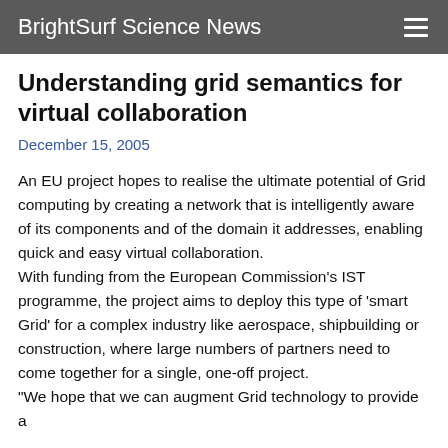BrightSurf Science News
Understanding grid semantics for virtual collaboration
December 15, 2005
An EU project hopes to realise the ultimate potential of Grid computing by creating a network that is intelligently aware of its components and of the domain it addresses, enabling quick and easy virtual collaboration.
With funding from the European Commission's IST programme, the project aims to deploy this type of 'smart Grid' for a complex industry like aerospace, shipbuilding or construction, where large numbers of partners need to come together for a single, one-off project.
"We hope that we can augment Grid technology to provide a